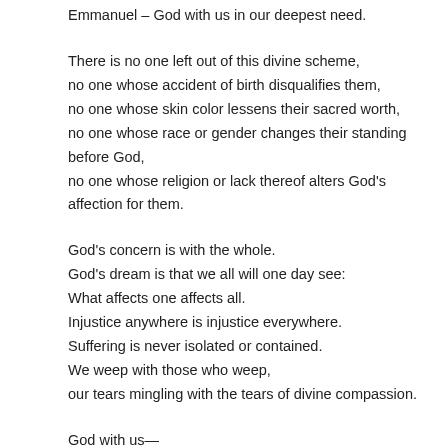Emmanuel – God with us in our deepest need.
There is no one left out of this divine scheme,
no one whose accident of birth disqualifies them,
no one whose skin color lessens their sacred worth,
no one whose race or gender changes their standing before God,
no one whose religion or lack thereof alters God's affection for them.
God's concern is with the whole.
God's dream is that we all will one day see:
What affects one affects all.
Injustice anywhere is injustice everywhere.
Suffering is never isolated or contained.
We weep with those who weep,
our tears mingling with the tears of divine compassion.
God with us—